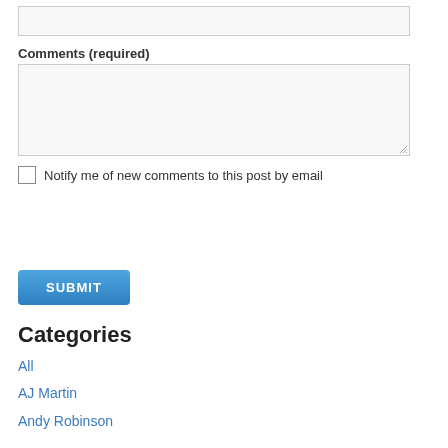[Figure (screenshot): Text input field (empty, light gray background)]
Comments (required)
[Figure (screenshot): Textarea input field (empty, light gray background, resize handle at bottom right)]
Notify me of new comments to this post by email
[Figure (screenshot): Submit button with blue gradient background and white uppercase text SUBMIT]
Categories
All
AJ Martin
Andy Robinson